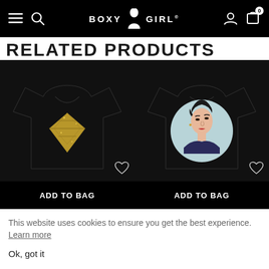BOXY GIRL - navigation bar with hamburger menu, search, logo, account, and cart icons
RELATED PRODUCTS
[Figure (photo): Black t-shirt with gold sequin diamond graphic design, with heart/wishlist icon and ADD TO BAG button]
[Figure (photo): Black t-shirt with circular pop-art illustration of a woman with dark hair, with heart/wishlist icon and ADD TO BAG button]
This website uses cookies to ensure you get the best experience. Learn more
Ok, got it